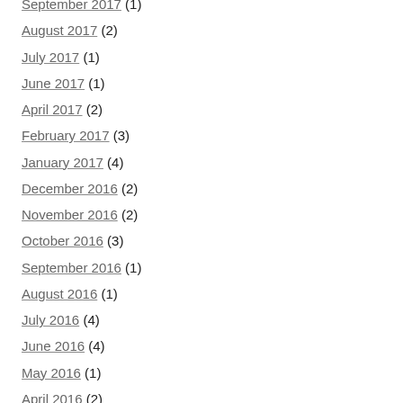September 2017 (1)
August 2017 (2)
July 2017 (1)
June 2017 (1)
April 2017 (2)
February 2017 (3)
January 2017 (4)
December 2016 (2)
November 2016 (2)
October 2016 (3)
September 2016 (1)
August 2016 (1)
July 2016 (4)
June 2016 (4)
May 2016 (1)
April 2016 (2)
March 2016 (1)
February 2016 (1)
January 2016 (1)